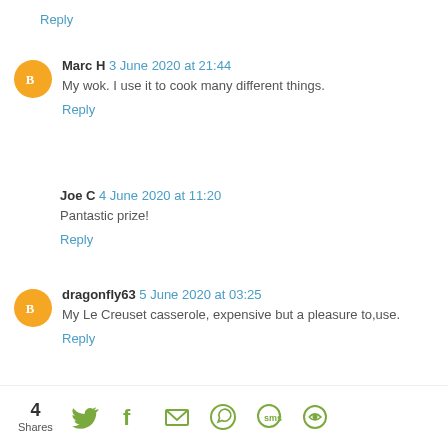Reply
Marc H 3 June 2020 at 21:44
My wok. I use it to cook many different things.
Reply
Joe C 4 June 2020 at 11:20
Pantastic prize!
Reply
dragonfly63 5 June 2020 at 03:25
My Le Creuset casserole, expensive but a pleasure to,use.
Reply
4 Shares